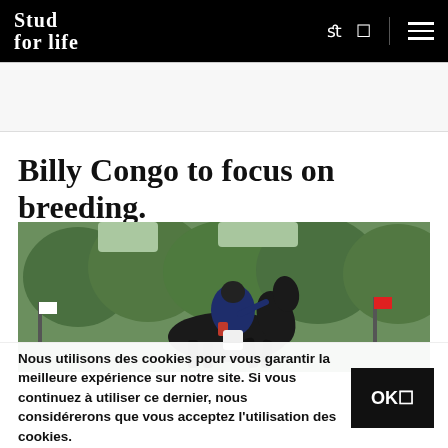Stud for life
Billy Congo to focus on breeding.
[Figure (photo): Equestrian show jumping: a rider in dark jacket and helmet on a dark horse mid-jump, with green trees in the background]
Nous utilisons des cookies pour vous garantir la meilleure expérience sur notre site. Si vous continuez à utiliser ce dernier, nous considérerons que vous acceptez l'utilisation des cookies.